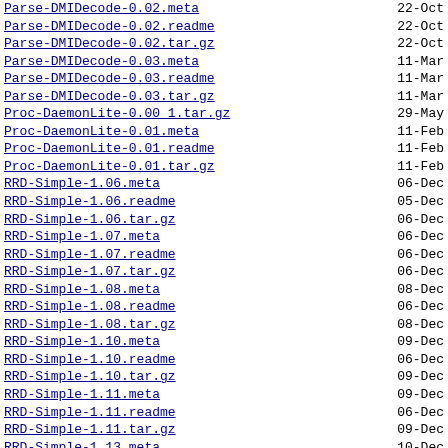Parse-DMIDecode-0.02.meta  22-Oct
Parse-DMIDecode-0.02.readme  22-Oct
Parse-DMIDecode-0.02.tar.gz  22-Oct
Parse-DMIDecode-0.03.meta  11-Mar
Parse-DMIDecode-0.03.readme  11-Mar
Parse-DMIDecode-0.03.tar.gz  11-Mar
Proc-DaemonLite-0.00 1.tar.gz  29-May
Proc-DaemonLite-0.01.meta  11-Feb
Proc-DaemonLite-0.01.readme  11-Feb
Proc-DaemonLite-0.01.tar.gz  11-Feb
RRD-Simple-1.06.meta  06-Dec
RRD-Simple-1.06.readme  05-Dec
RRD-Simple-1.06.tar.gz  06-Dec
RRD-Simple-1.07.meta  06-Dec
RRD-Simple-1.07.readme  06-Dec
RRD-Simple-1.07.tar.gz  06-Dec
RRD-Simple-1.08.meta  08-Dec
RRD-Simple-1.08.readme  06-Dec
RRD-Simple-1.08.tar.gz  08-Dec
RRD-Simple-1.10.meta  09-Dec
RRD-Simple-1.10.readme  06-Dec
RRD-Simple-1.10.tar.gz  09-Dec
RRD-Simple-1.11.meta  09-Dec
RRD-Simple-1.11.readme  06-Dec
RRD-Simple-1.11.tar.gz  09-Dec
RRD-Simple-1.13.meta  10-Dec
RRD-Simple-1.13.readme  06-Dec
RRD-Simple-1.13.tar.gz  10-Dec
RRD-Simple-1.19.meta  12-Dec
RRD-Simple-1.19.readme  06-Dec